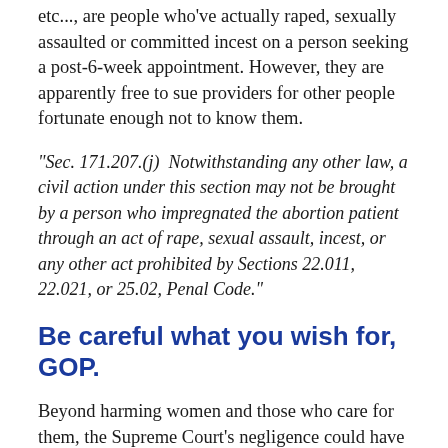etc..., are people who've actually raped, sexually assaulted or committed incest on a person seeking a post-6-week appointment. However, they are apparently free to sue providers for other people fortunate enough not to know them.
“Sec. 171.207.(j)  Notwithstanding any other law, a civil action under this section may not be brought by a person who impregnated the abortion patient through an act of rape, sexual assault, incest, or any other act prohibited by Sections 22.011, 22.021, or 25.02, Penal Code.”
Be careful what you wish for, GOP.
Beyond harming women and those who care for them, the Supreme Court’s negligence could have far-reaching, unintended consequences, including undermining any constitutional right.